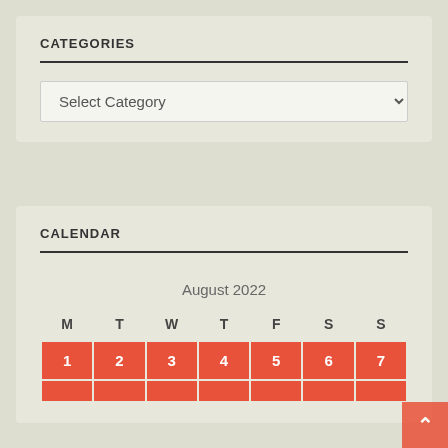CATEGORIES
Select Category
CALENDAR
| M | T | W | T | F | S | S |
| --- | --- | --- | --- | --- | --- | --- |
| 1 | 2 | 3 | 4 | 5 | 6 | 7 |